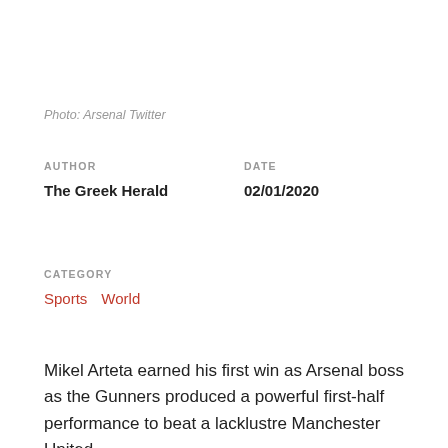Photo: Arsenal Twitter
AUTHOR
The Greek Herald
DATE
02/01/2020
CATEGORY
Sports   World
Mikel Arteta earned his first win as Arsenal boss as the Gunners produced a powerful first-half performance to beat a lacklustre Manchester United.